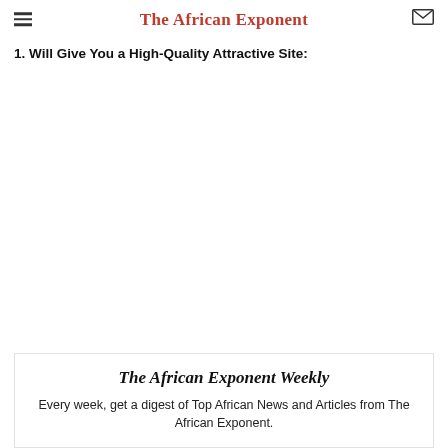The African Exponent
1. Will Give You a High-Quality Attractive Site:
The African Exponent Weekly
Every week, get a digest of Top African News and Articles from The African Exponent.